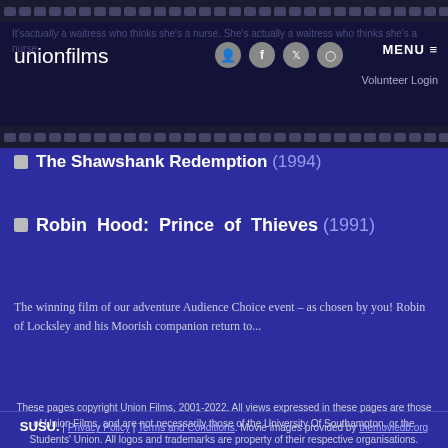union films — MENU ≡  Volunteer Login
The Shawshank Redemption (1994)
Robin Hood: Prince of Thieves (1991)
The winning film of our adventure Audience Choice event – as chosen by you! Robin of Locksley and his Moorish companion return to...
These pages copyright Union Films, 2001-2022. All views expressed in these pages are those of Union Films, and are not necessarily those of the University Of Southampton, or the Students' Union. All logos and trademarks are property of their respective organisations.
SUSU. | Privacy Policy | Terms and Conditions. Movie images provided by themoviedb.org